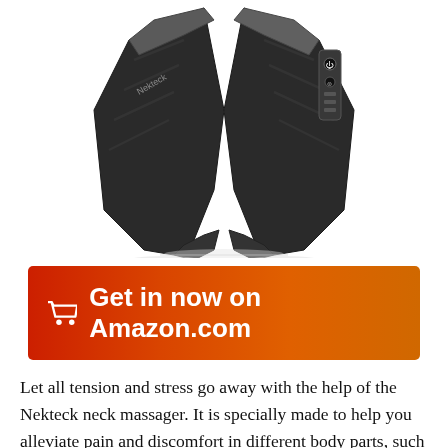[Figure (photo): Nekteck neck massager product photo showing two arms of the device in dark gray/black color with control buttons visible on the right arm]
[Figure (infographic): Red to orange gradient button with shopping cart icon and text: Get in now on Amazon.com]
Let all tension and stress go away with the help of the Nekteck neck massager. It is specially made to help you alleviate pain and discomfort in different body parts, such as shoulders, neck, as well as the upper and lower back. The tool comes with eight